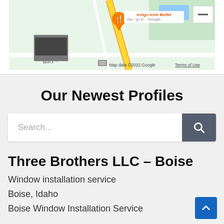[Figure (screenshot): Google Maps screenshot showing 'Ichigo Ichie Buffet' with orange location pin, map of area around Mary Blvd, with a small street-view thumbnail, Google logo, keyboard icon, map data copyright 2022 Google, and Terms of Use text. A zoom-out button is visible in the top right.]
Our Newest Profiles
[Figure (screenshot): Search bar with placeholder text 'Search...' and a dark gray search button with magnifying glass icon on the right.]
Three Brothers LLC – Boise
Window installation service
Boise, Idaho
Boise Window Installation Service